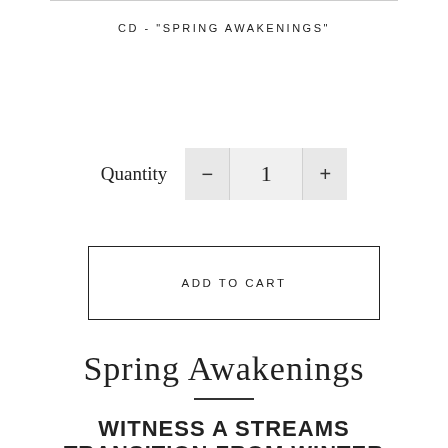CD - "SPRING AWAKENINGS"
Quantity  −  1  +
ADD TO CART
Spring Awakenings
WITNESS A STREAMS TRANSITION FROM WINTER